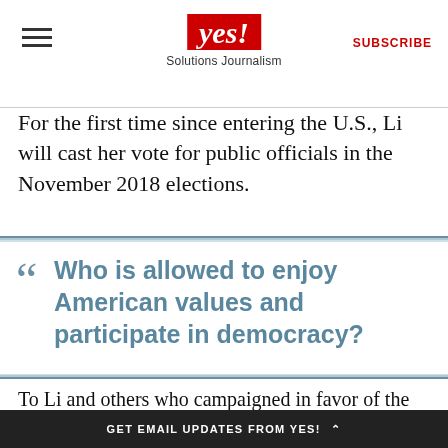yes! Solutions Journalism | SUBSCRIBE
For the first time since entering the U.S., Li will cast her vote for public officials in the November 2018 elections.
Who is allowed to enjoy American values and participate in democracy?
To Li and others who campaigned in favor of the measure, San Francisco's parent-led efforts show how cities can empower and protect noncitizens at
GET EMAIL UPDATES FROM YES!